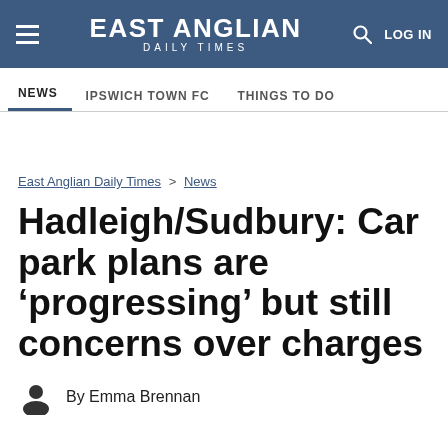EAST ANGLIAN DAILY TIMES
NEWS | IPSWICH TOWN FC | THINGS TO DO
East Anglian Daily Times > News
Hadleigh/Sudbury: Car park plans are ‘progressing’ but still concerns over charges
By Emma Brennan